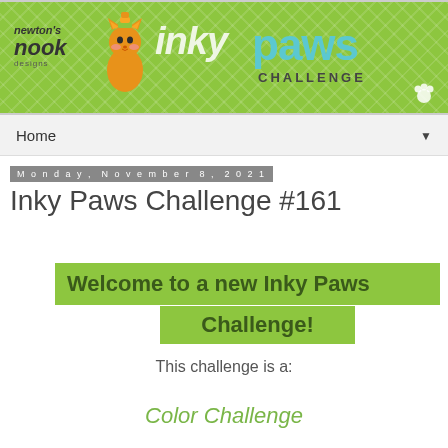[Figure (illustration): Newton's Nook Designs and Inky Paws Challenge banner with green plaid background, cat mascot illustration, script logo text]
Home ▼
Monday, November 8, 2021
Inky Paws Challenge #161
Welcome to a new Inky Paws Challenge!
This challenge is a:
Color Challenge